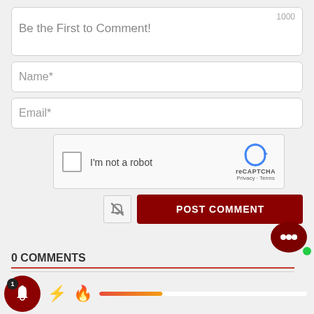1000
Be the First to Comment!
Name*
Email*
[Figure (screenshot): reCAPTCHA widget with checkbox labeled I'm not a robot, reCAPTCHA logo, Privacy and Terms links]
[Figure (screenshot): Notification bell icon (muted/crossed)]
POST COMMENT
[Figure (logo): Dark red chat bubble icon with green dot]
0 COMMENTS
[Figure (screenshot): Bottom bar with red notification bell with badge 1, lightning bolt emoji, flame emoji, and orange/red progress bar]